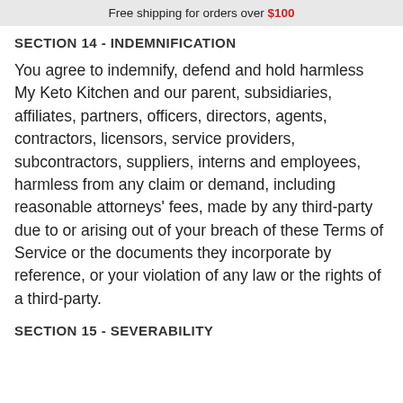Free shipping for orders over $100
SECTION 14 - INDEMNIFICATION
You agree to indemnify, defend and hold harmless My Keto Kitchen and our parent, subsidiaries, affiliates, partners, officers, directors, agents, contractors, licensors, service providers, subcontractors, suppliers, interns and employees, harmless from any claim or demand, including reasonable attorneys' fees, made by any third-party due to or arising out of your breach of these Terms of Service or the documents they incorporate by reference, or your violation of any law or the rights of a third-party.
SECTION 15 - SEVERABILITY